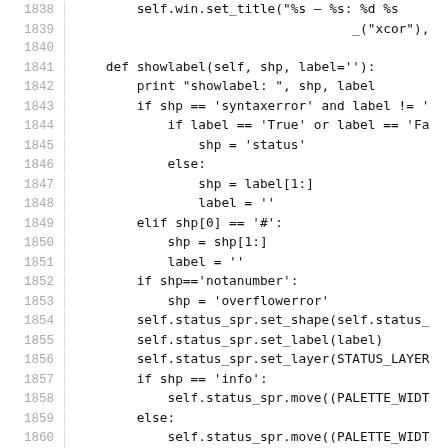[Figure (screenshot): Python source code listing, lines 1838–1867, showing methods showlabel and calc_position with line numbers on the left.]